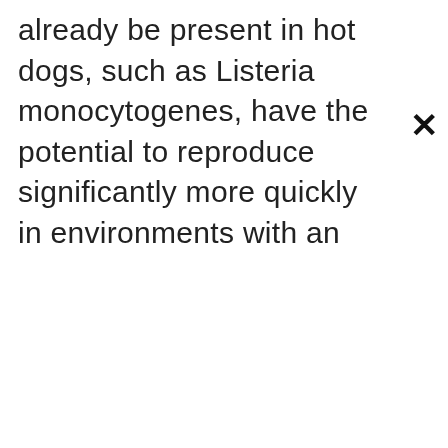already be present in hot dogs, such as Listeria monocytogenes, have the potential to reproduce significantly more quickly in environments with an
[Figure (other): Close/dismiss button (×) in the upper right corner]